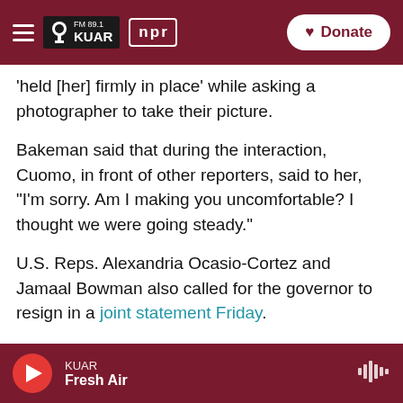FM 89.1 KUAR | npr | Donate
'held [her] firmly in place' while asking a photographer to take their picture.
Bakeman said that during the interaction, Cuomo, in front of other reporters, said to her, "I'm sorry. Am I making you uncomfortable? I thought we were going steady."
U.S. Reps. Alexandria Ocasio-Cortez and Jamaal Bowman also called for the governor to resign in a joint statement Friday.
"We believe these women, we believe the reporting, we believe the Attorney General, and we
KUAR — Fresh Air